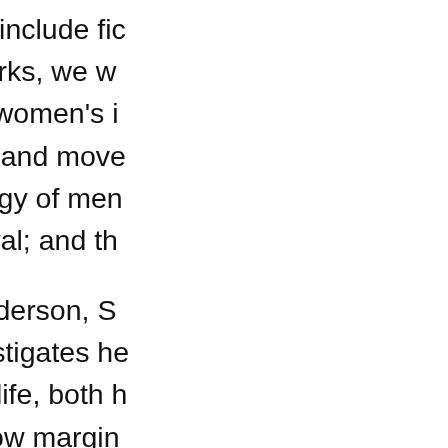Creative genres include fiction, poetry, memoir, and lyric text. In these works, we witness themes and concerns associated with women's invisible and uncompensated labor between energy and movement: the energy of memory; the energy; the energy of men's bodies and their centrality for human survival; and th...
Karen Leona Anderson, S... poems that investigates how management of life, both h... which take up how margin... misogyny, think through th... women's invisible and unc...
Marjorie Luesebrink/M.D. ... fiction/non-fiction piece tha... restoration, and the forced... lakes onto the prairie. It ex... through time and space. E...
Noah Travis Phillips, Unive... posthuman ekphrastic text... private archive of made, fo... or seed, a form of energy... interconnections, highlight...